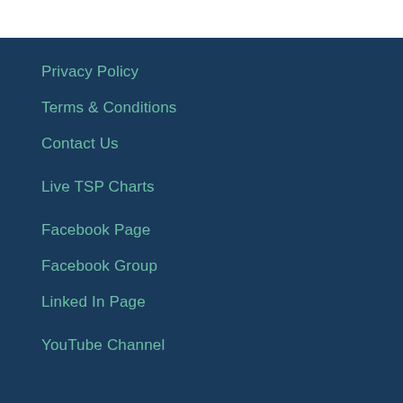Privacy Policy
Terms & Conditions
Contact Us
Live TSP Charts
Facebook Page
Facebook Group
Linked In Page
YouTube Channel